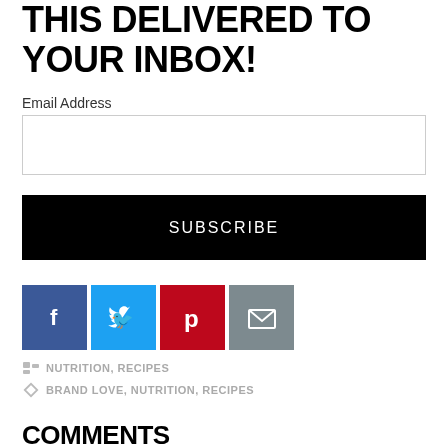THIS DELIVERED TO YOUR INBOX!
Email Address
[Figure (other): Email address input text field (empty)]
[Figure (other): SUBSCRIBE button, black background, white text]
[Figure (other): Social sharing icons: Facebook (blue), Twitter (light blue), Pinterest (red), Email (grey)]
NUTRITION, RECIPES
BRAND LOVE, NUTRITION, RECIPES
COMMENTS